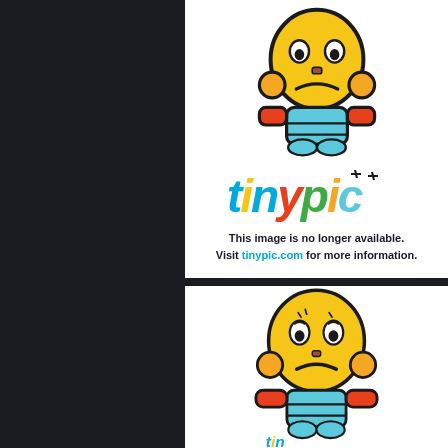[Figure (illustration): Dark left panel background]
[Figure (illustration): Tinypic 'image no longer available' placeholder showing a sad yellow robot mascot with orange arms, a colorful tinypic logo, and the message: This image is no longer available. Visit tinypic.com for more information.]
[Figure (illustration): Second Tinypic placeholder showing a larger sad yellow robot mascot with orange arms and blue feet, and a partial tinypic logo at the bottom.]